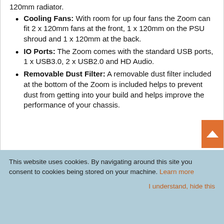120mm radiator.
Cooling Fans: With room for up four fans the Zoom can fit 2 x 120mm fans at the front, 1 x 120mm on the PSU shroud and 1 x 120mm at the back.
IO Ports: The Zoom comes with the standard USB ports, 1 x USB3.0, 2 x USB2.0 and HD Audio.
Removable Dust Filter: A removable dust filter included at the bottom of the Zoom is included helps to prevent dust from getting into your build and helps improve the performance of your chassis.
This website uses cookies. By navigating around this site you consent to cookies being stored on your machine. Learn more
I understand, hide this